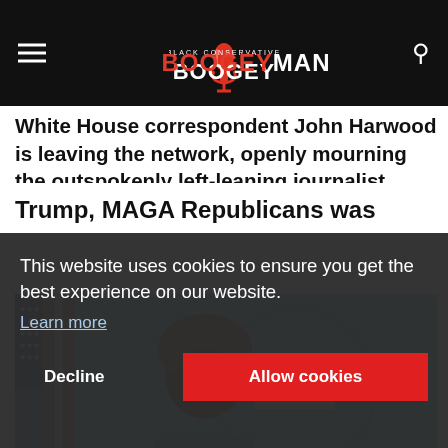BLACK CONSERVATIVE BOOGEYMAN
White House correspondent John Harwood is leaving the network, openly mourning the outspokenly left-leaning journalist....
[Figure (photo): Woman with curly hair at White House press briefing podium, US flag behind her, White House seal visible]
This website uses cookies to ensure you get the best experience on our website.
Learn more
Decline   Allow cookies
Trump, MAGA Republicans was